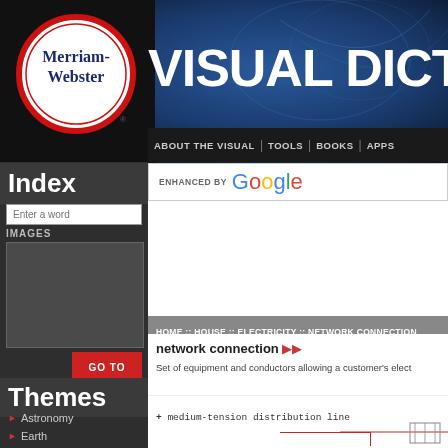[Figure (logo): Merriam-Webster circular logo with red border, dark blue text on white background]
VISUAL DICTIO
ABOUT THE VISUAL | TOOLS | BOOKS | APPS
ENHANCED BY Google
Index
Enter a word
IMAGES
GO TO
Themes
Astronomy
Earth
HOME :: HOUSE :: ELECTRICITY :: NETWORK CONNECTION
network connection
Set of equipment and conductors allowing a customer's elect
+ medium-tension distribution line